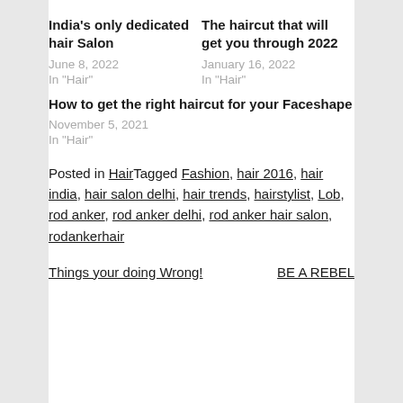India's only dedicated hair Salon
June 8, 2022
In "Hair"
The haircut that will get you through 2022
January 16, 2022
In "Hair"
How to get the right haircut for your Faceshape
November 5, 2021
In "Hair"
Posted in HairTagged Fashion, hair 2016, hair india, hair salon delhi, hair trends, hairstylist, Lob, rod anker, rod anker delhi, rod anker hair salon, rodankerhair
Things your doing Wrong!
BE A REBEL